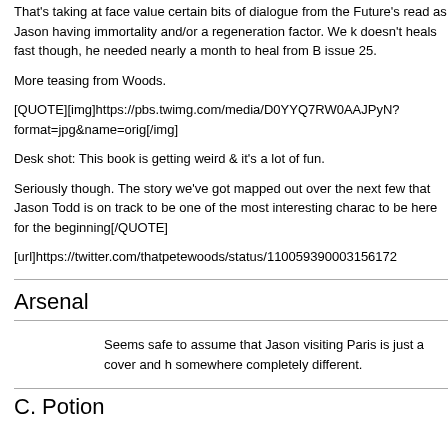That's taking at face value certain bits of dialogue from the Future's read as Jason having immortality and/or a regeneration factor. We k doesn't heals fast though, he needed nearly a month to heal from B issue 25.
More teasing from Woods.
[QUOTE][img]https://pbs.twimg.com/media/D0YYQ7RW0AAJPyN? format=jpg&name=orig[/img]
Desk shot: This book is getting weird & it's a lot of fun.
Seriously though. The story we've got mapped out over the next few that Jason Todd is on track to be one of the most interesting charac to be here for the beginning[/QUOTE]
[url]https://twitter.com/thatpetewoods/status/110059390003156172
Arsenal
Seems safe to assume that Jason visiting Paris is just a cover and h somewhere completely different.
C. Potion